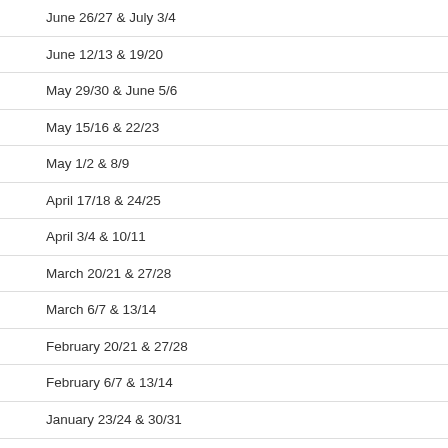June 26/27 & July 3/4
June 12/13 & 19/20
May 29/30 & June 5/6
May 15/16 & 22/23
May 1/2 & 8/9
April 17/18 & 24/25
April 3/4 & 10/11
March 20/21 & 27/28
March 6/7 & 13/14
February 20/21 & 27/28
February 6/7 & 13/14
January 23/24 & 30/31
January 9/10 & 16/17
1998
December 5/6 & 12/13